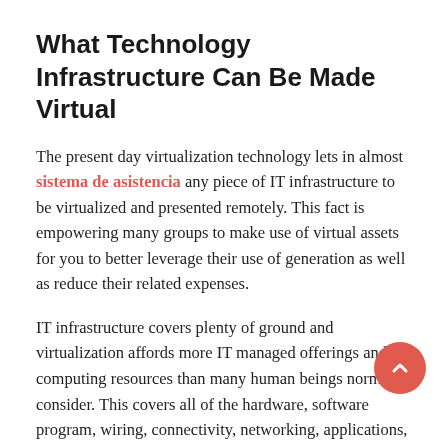What Technology Infrastructure Can Be Made Virtual
The present day virtualization technology lets in almost sistema de asistencia any piece of IT infrastructure to be virtualized and presented remotely. This fact is empowering many groups to make use of virtual assets for you to better leverage their use of generation as well as reduce their related expenses.
IT infrastructure covers plenty of ground and virtualization affords more IT managed offerings and computing resources than many human beings normally consider. This covers all of the hardware, software program, wiring, connectivity, networking, applications, operating systems, records center capabilities, cooling, energy distribution, and machine duplication and catastrophe restoration.
Specifically, this listing includes transmission media